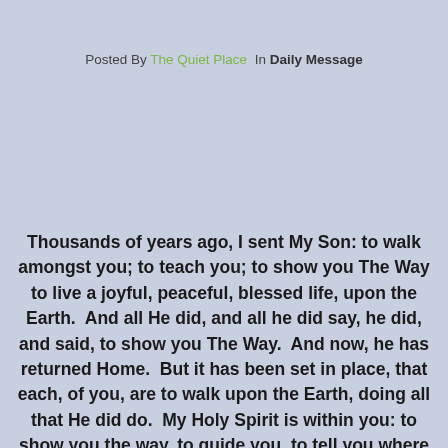Posted By The Quiet Place  In Daily Message
Thousands of years ago, I sent My Son: to walk amongst you; to teach you; to show you The Way to live a joyful, peaceful, blessed life, upon the Earth.  And all He did, and all he did say, he did, and said, to show you The Way.  And now, he has returned Home.  But it has been set in place, that each, of you, are to walk upon the Earth, doing all that He did do.  My Holy Spirit is within you: to show you the way, to guide you, to tell you where to go, to teach you what to say; so that, where there